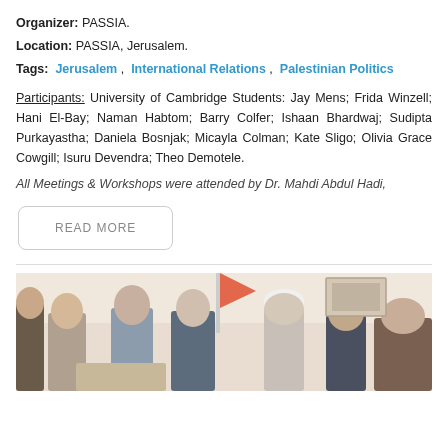Organizer: PASSIA.
Location: PASSIA, Jerusalem.
Tags: Jerusalem , International Relations , Palestinian Politics
Participants: University of Cambridge Students: Jay Mens; Frida Winzell; Hani El-Bay; Naman Habtom; Barry Colfer; Ishaan Bhardwaj; Sudipta Purkayastha; Daniela Bosnjak; Micayla Colman; Kate Sligo; Olivia Grace Cowgill; Isuru Devendra; Theo Demotele.
All Meetings & Workshops were attended by Dr. Mahdi Abdul Hadi,
READ MORE
[Figure (photo): Group photo of several people, some in religious attire including a white cap, with a flag visible in the background, in an indoor setting.]